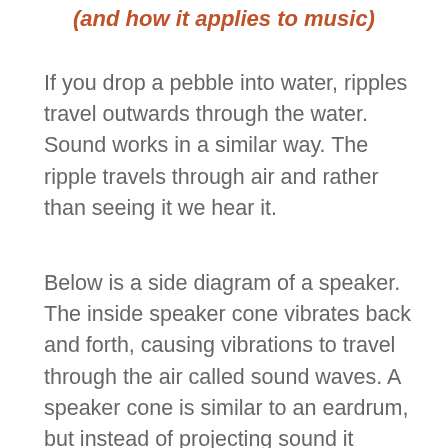(and how it applies to music)
If you drop a pebble into water, ripples travel outwards through the water. Sound works in a similar way. The ripple travels through air and rather than seeing it we hear it.
Below is a side diagram of a speaker. The inside speaker cone vibrates back and forth, causing vibrations to travel through the air called sound waves. A speaker cone is similar to an eardrum, but instead of projecting sound it receives it. This means the eardrum